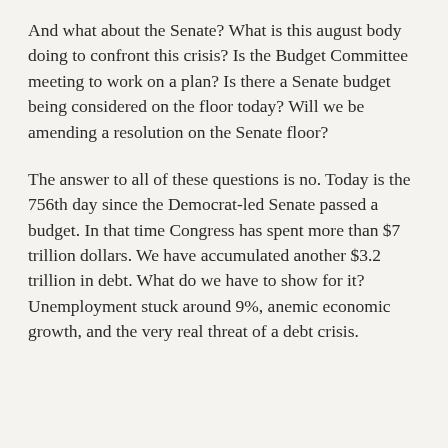And what about the Senate? What is this august body doing to confront this crisis? Is the Budget Committee meeting to work on a plan? Is there a Senate budget being considered on the floor today? Will we be amending a resolution on the Senate floor?
The answer to all of these questions is no. Today is the 756th day since the Democrat-led Senate passed a budget. In that time Congress has spent more than $7 trillion dollars. We have accumulated another $3.2 trillion in debt. What do we have to show for it? Unemployment stuck around 9%, anemic economic growth, and the very real threat of a debt crisis.